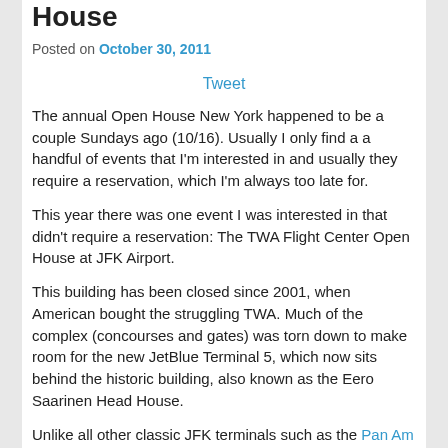House
Posted on October 30, 2011
Tweet
The annual Open House New York happened to be a couple Sundays ago (10/16). Usually I only find a a handful of events that I'm interested in and usually they require a reservation, which I'm always too late for.
This year there was one event I was interested in that didn't require a reservation: The TWA Flight Center Open House at JFK Airport.
This building has been closed since 2001, when American bought the struggling TWA. Much of the complex (concourses and gates) was torn down to make room for the new JetBlue Terminal 5, which now sits behind the historic building, also known as the Eero Saarinen Head House.
Unlike all other classic JFK terminals such as the Pan Am...